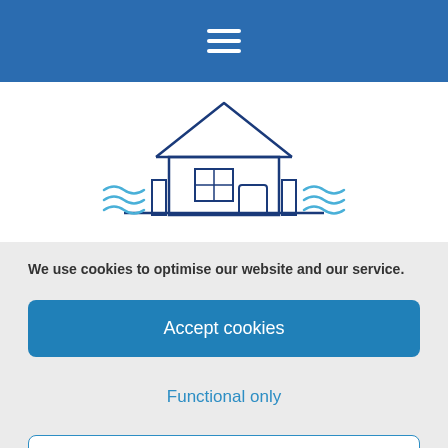[Figure (illustration): Blue header bar with white hamburger/menu icon (three horizontal lines) centered.]
[Figure (illustration): House illustration with flood/water waves on either side, drawn in dark blue outline style on white background. The house has a triangular roof, a window divided into four panes, and a door. Small pillars flank the house with wavy water lines around them.]
We use cookies to optimise our website and our service.
Accept cookies
Functional only
View preferences